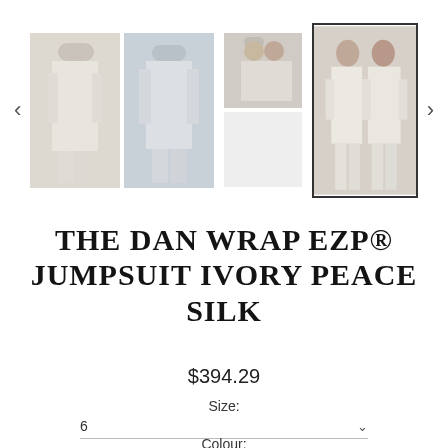[Figure (photo): E-commerce product page gallery showing multiple photos of two women wearing an ivory white jumpsuit. Four thumbnail images visible: front view, back view, detail view, and a selected thumbnail of two women posing together. Navigation arrows on left and right.]
THE DAN WRAP EZP® JUMPSUIT IVORY PEACE SILK
$394.29
Size:
6
Colour: